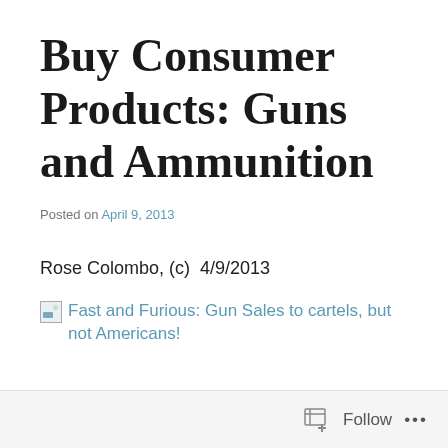Buy Consumer Products: Guns and Ammunition
Posted on April 9, 2013
Rose Colombo, (c)  4/9/2013
[Figure (other): Broken image placeholder with link text: Fast and Furious: Gun Sales to cartels, but not Americans!]
Follow ...